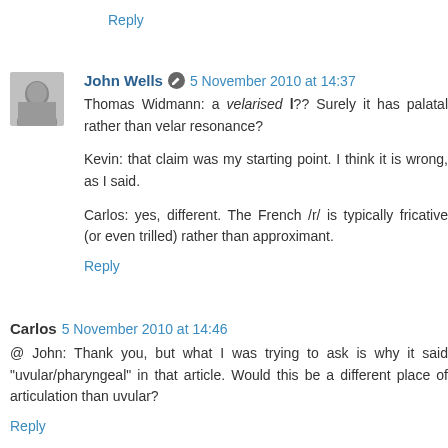Reply
John Wells  5 November 2010 at 14:37
Thomas Widmann: a velarised l?? Surely it has palatal rather than velar resonance?
Kevin: that claim was my starting point. I think it is wrong, as I said.
Carlos: yes, different. The French /r/ is typically fricative (or even trilled) rather than approximant.
Reply
Carlos  5 November 2010 at 14:46
@ John: Thank you, but what I was trying to ask is why it said "uvular/pharyngeal" in that article. Would this be a different place of articulation than uvular?
Reply